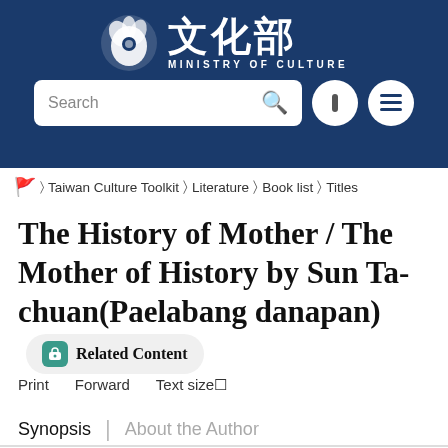文化部 MINISTRY OF CULTURE
[Figure (logo): Ministry of Culture Taiwan logo with stylized bird/flower emblem, Chinese characters 文化部, and text MINISTRY OF CULTURE on dark blue background with search bar]
Taiwan Culture Toolkit > Literature > Book list > Titles
The History of Mother / The Mother of History by Sun Ta-chuan(Paelabang danapan)
Related Content
Print  Forward  Text size□
Synopsis  |  About the Author